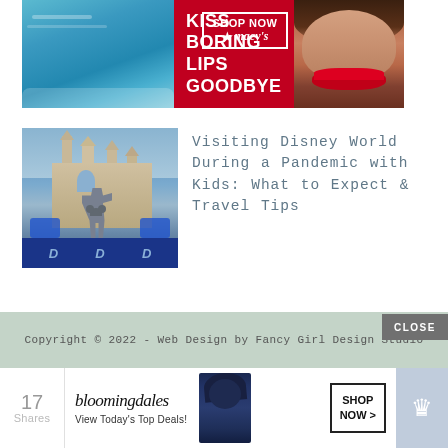[Figure (photo): Macy's advertisement banner with red background. Left side shows pool/water image. Center text reads 'KISS BORING LIPS GOODBYE'. Right side shows woman's face with red lips, 'SHOP NOW' box and Macy's star logo.]
[Figure (photo): Thumbnail image of Walt Disney World featuring the Partners Statue (Walt Disney and Mickey Mouse) in front of Cinderella Castle, with blue decorations and D-letter banners.]
Visiting Disney World During a Pandemic with Kids: What to Expect & Travel Tips
Copyright © 2022 - Web Design by Fancy Girl Design Studio
[Figure (photo): Bloomingdale's advertisement banner at the bottom. Shows bloomingdales cursive logo, 'View Today's Top Deals!' tagline, a model in a blue hat, and a 'SHOP NOW >' box. Left shows 17 Shares counter. Right shows a crown icon on blue background with CLOSE button.]